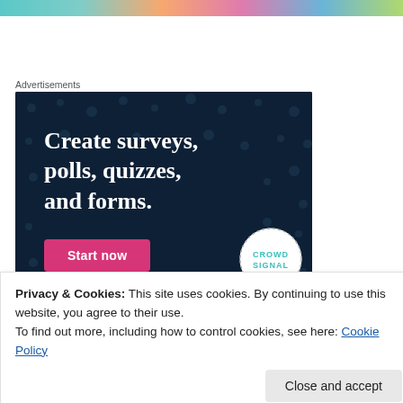[Figure (photo): Colorful banner image at top of page, partially cropped]
Advertisements
[Figure (infographic): Advertisement banner with dark navy background and dot pattern. White serif bold text reads: Create surveys, polls, quizzes, and forms. Pink/magenta button labeled Start now. CrowdSignal logo bottom right.]
Privacy & Cookies: This site uses cookies. By continuing to use this website, you agree to their use.
To find out more, including how to control cookies, see here: Cookie Policy
them would violate our household acceptable use policy